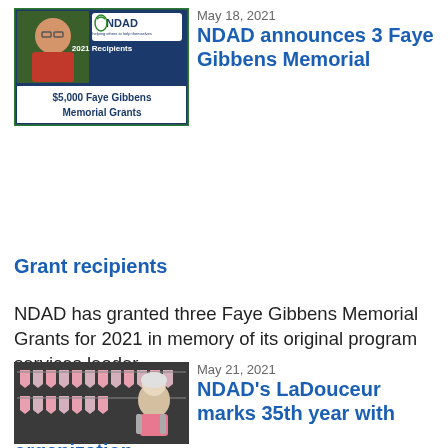[Figure (photo): NDAD 2021 Recipients announcement graphic showing a woman's photo and text '$5,000 Faye Gibbens Memorial Grants' on a dark blue background with NDAD logo]
May 18, 2021
NDAD announces 3 Faye Gibbens Memorial Grant recipients
NDAD has granted three Faye Gibbens Memorial Grants for 2021 in memory of its original program services leader.
[Figure (photo): Woman with white hair standing in front of a dark background with pink pennant banner decorations]
May 21, 2021
NDAD's LaDouceur marks 35th year with organization